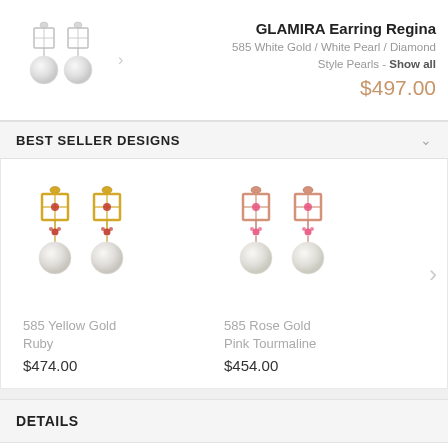[Figure (photo): Two white gold earrings with diamond square tops and pearl drops]
GLAMIRA Earring Regina
585 White Gold / White Pearl / Diamond Style Pearls - Show all
$497.00
BEST SELLER DESIGNS
[Figure (photo): 585 Yellow Gold Ruby earrings with diamond square tops, ruby accents, and pearl drops]
585 Yellow Gold Ruby
$474.00
[Figure (photo): 585 Rose Gold Pink Tourmaline earrings with diamond square tops, pink stone accents, and pearl drops]
585 Rose Gold Pink Tourmaline
$454.00
DETAILS